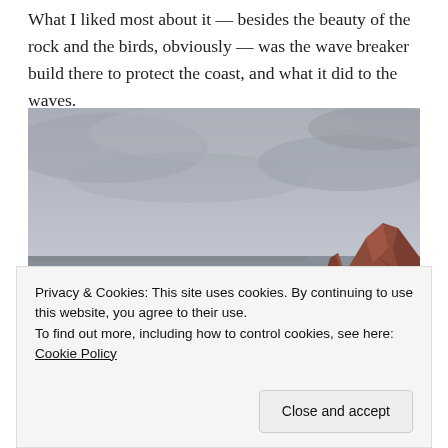What I liked most about it — besides the beauty of the rock and the birds, obviously — was the wave breaker build there to protect the coast, and what it did to the waves.
[Figure (photo): Coastal scene showing a calm grey sea under an overcast sky, with a red sandstone rock stack on the right and a concrete wave breaker/jetty structure extending into the sea. A tiny human figure is visible on the jetty.]
Privacy & Cookies: This site uses cookies. By continuing to use this website, you agree to their use.
To find out more, including how to control cookies, see here: Cookie Policy